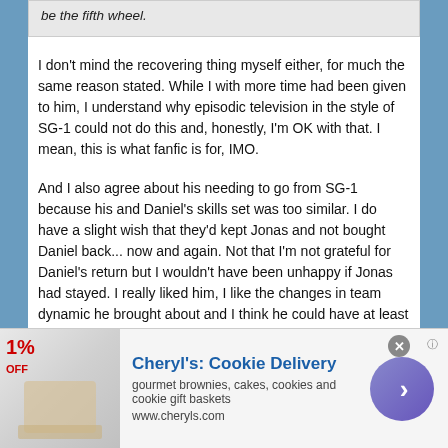be the fifth wheel.
I don't mind the recovering thing myself either, for much the same reason stated. While I with more time had been given to him, I understand why episodic television in the style of SG-1 could not do this and, honestly, I'm OK with that. I mean, this is what fanfic is for, IMO.
And I also agree about his needing to go from SG-1 because his and Daniel's skills set was too similar. I do have a slight wish that they'd kept Jonas and not bought Daniel back... now and again. Not that I'm not grateful for Daniel's return but I wouldn't have been unhappy if Jonas had stayed. I really liked him, I like the changes in team dynamic he brought about and I think he could have at least hung about a bit as a recurring character. I do feel like we never really concluded his story in the end.
And, as I said, the briefing room scene is just wonderful
[Figure (infographic): Advertisement banner for Cheryl's Cookie Delivery featuring cookie/brownie image, text 'Cheryl's: Cookie Delivery', subtitle 'gourmet brownies, cakes, cookies and cookie gift baskets', URL 'www.cheryls.com', a close button, and a purple arrow button.]